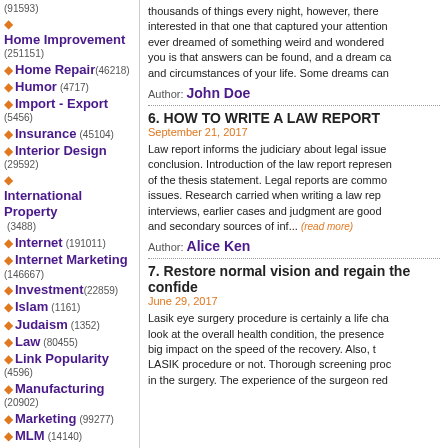(91593) Home Improvement (251151)
Home Repair (46218)
Humor (4717)
Import - Export (5456)
Insurance (45104)
Interior Design (29592)
International Property (3488)
Internet (191011)
Internet Marketing (146667)
Investment (22859)
Islam (1161)
Judaism (1352)
Law (80455)
Link Popularity (4596)
Manufacturing (20902)
Marketing (99277)
MLM (14140)
Motivation (18233)
Music (25090)
thousands of things every night, however, there interested in that one that captured your attention ever dreamed of something weird and wondered you is that answers can be found, and a dream ca and circumstances of your life. Some dreams can
Author: John Doe
6. HOW TO WRITE A LAW REPORT
September 21, 2017
Law report informs the judiciary about legal issue conclusion. Introduction of the law report represen of the thesis statement. Legal reports are commo issues. Research carried when writing a law rep interviews, earlier cases and judgment are good and secondary sources of inf... (read more)
Author: Alice Ken
7. Restore normal vision and regain the confide
June 29, 2017
Lasik eye surgery procedure is certainly a life cha look at the overall health condition, the presence big impact on the speed of the recovery. Also, t LASIK procedure or not. Thorough screening proc in the surgery. The experience of the surgeon red